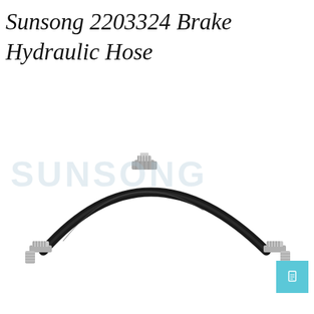Sunsong 2203324 Brake Hydraulic Hose
[Figure (photo): A black rubber brake hydraulic hose with silver metallic fittings/connectors at both ends. The hose curves upward in an arc shape with a connector at the top center. The Sunsong brand watermark appears in the background of the image.]